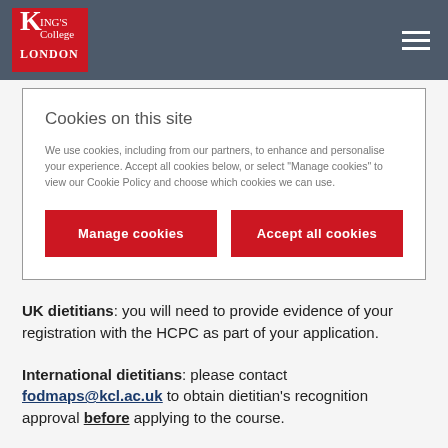King's College London
Cookies on this site
We use cookies, including from our partners, to enhance and personalise your experience. Accept all cookies below, or select "Manage cookies" to view our Cookie Policy and choose which cookies we can use.
Manage cookies | Accept all cookies
UK dietitians: you will need to provide evidence of your registration with the HCPC as part of your application.
International dietitians: please contact fodmaps@kcl.ac.uk to obtain dietitian's recognition approval before applying to the course.
Fees and discounts